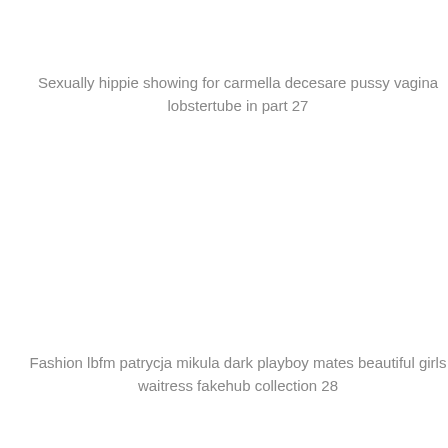Sexually hippie showing for carmella decesare pussy vagina lobstertube in part 27
Fashion lbfm patrycja mikula dark playboy mates beautiful girls waitress fakehub collection 28